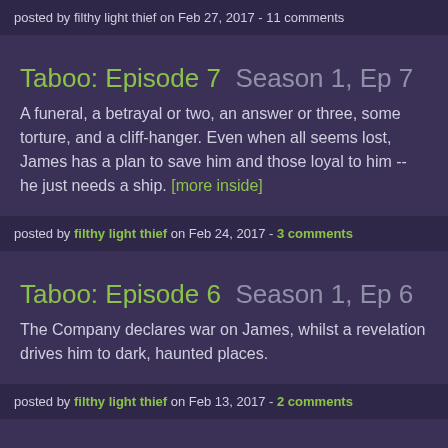posted by filthy light thief on Feb 27, 2017 - 11 comments
Taboo: Episode 7  Season 1, Ep 7
A funeral, a betrayal or two, an answer or three, some torture, and a cliff-hanger. Even when all seems lost, James has a plan to save him and those loyal to him -- he just needs a ship. [more inside]
posted by filthy light thief on Feb 24, 2017 - 3 comments
Taboo: Episode 6  Season 1, Ep 6
The Company declares war on James, whilst a revelation drives him to dark, haunted places.
posted by filthy light thief on Feb 13, 2017 - 2 comments